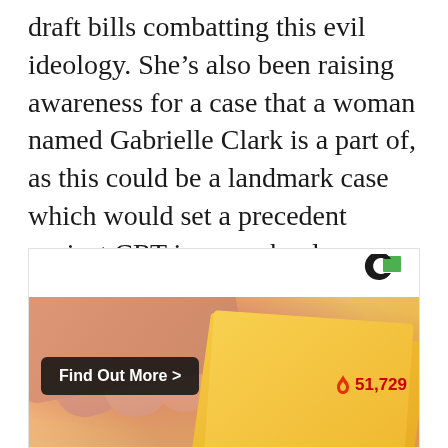draft bills combatting this evil ideology. She’s also been raising awareness for a case that a woman named Gabrielle Clark is a part of, as this could be a landmark case which would set a precedent against CRT in our schools.
[Figure (other): Advertisement unit showing a Continues logo (black C with green square accent) in top right, with a photo of hands holding a yellow envelope or folder, overlaid with a 'Find Out More >' button (dark background) on the left and a flame icon with '51,729' view count in red on the right.]